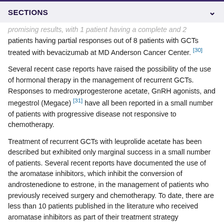SECTIONS
promising results, with 1 patient having a complete and 2 patients having partial responses out of 8 patients with GCTs treated with bevacizumab at MD Anderson Cancer Center. [30]
Several recent case reports have raised the possibility of the use of hormonal therapy in the management of recurrent GCTs. Responses to medroxyprogesterone acetate, GnRH agonists, and megestrol (Megace) [31] have all been reported in a small number of patients with progressive disease not responsive to chemotherapy.
Treatment of recurrent GCTs with leuprolide acetate has been described but exhibited only marginal success in a small number of patients. Several recent reports have documented the use of the aromatase inhibitors, which inhibit the conversion of androstenedione to estrone, in the management of patients who previously received surgery and chemotherapy. To date, there are less than 10 patients published in the literature who received aromatase inhibitors as part of their treatment strategy